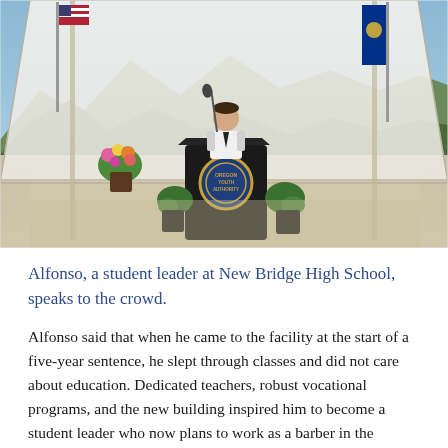[Figure (photo): A man in a white shirt and tie stands at a black podium bearing the Oregon Youth Authority seal, speaking under a white tent canopy. An American flag is at left, a state flag at right. Mountains and clear sky visible in background. Potted plants flank the podium on a concrete surface.]
Alfonso, a student leader at New Bridge High School, speaks to the crowd.
Alfonso said that when he came to the facility at the start of a five-year sentence, he slept through classes and did not care about education. Dedicated teachers, robust vocational programs, and the new building inspired him to become a student leader who now plans to work as a barber in the community when he is